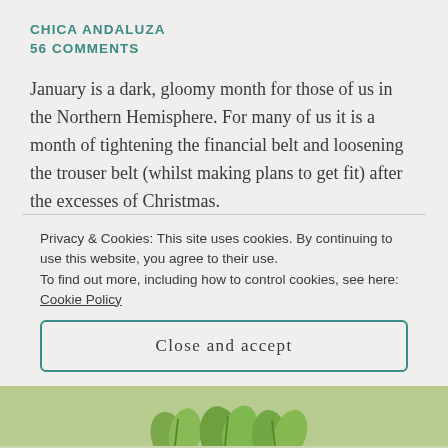CHICA ANDALUZA
56 COMMENTS
January is a dark, gloomy month for those of us in the Northern Hemisphere. For many of us it is a month of tightening the financial belt and loosening the trouser belt (whilst making plans to get fit) after the excesses of Christmas.
This is a dish which ticks all those resolution boxes – healthy, economical and it looks like Spring in a bowl, which is no bad thing. The garlic will ward away
Privacy & Cookies: This site uses cookies. By continuing to use this website, you agree to their use.
To find out more, including how to control cookies, see here: Cookie Policy
Close and accept
[Figure (photo): Bottom strip showing green plant/herb image]